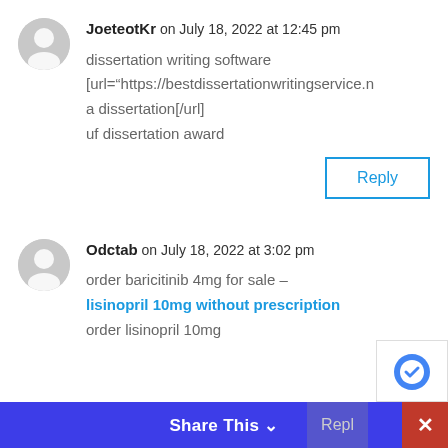JoeteotKr on July 18, 2022 at 12:45 pm
dissertation writing software
[url="https://bestdissertationwritingservice.n a dissertation[/url]
uf dissertation award
Reply
Odctab on July 18, 2022 at 3:02 pm
order baricitinib 4mg for sale – lisinopril 10mg without prescription order lisinopril 10mg
Share This